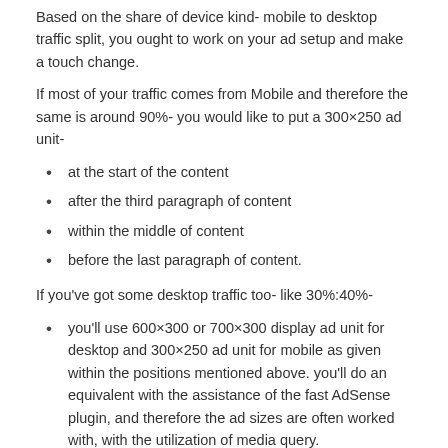Based on the share of device kind- mobile to desktop traffic split, you ought to work on your ad setup and make a touch change.
If most of your traffic comes from Mobile and therefore the same is around 90%- you would like to put a 300×250 ad unit-
at the start of the content
after the third paragraph of content
within the middle of content
before the last paragraph of content.
If you've got some desktop traffic too- like 30%:40%-
you'll use 600×300 or 700×300 display ad unit for desktop and 300×250 ad unit for mobile as given within the positions mentioned above. you'll do an equivalent with the assistance of the fast AdSense plugin, and therefore the ad sizes are often worked with, with the utilization of media query.